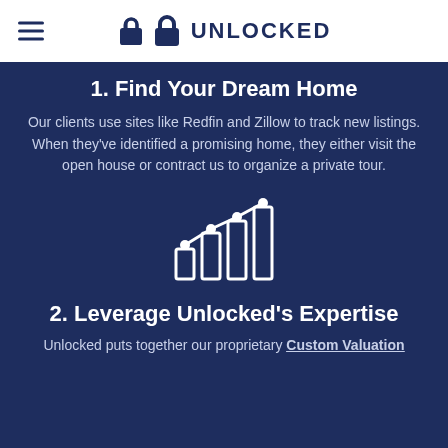UNLOCKED
1. Find Your Dream Home
Our clients use sites like Redfin and Zillow to track new listings. When they've identified a promising home, they either visit the open house or contract us to organize a private tour.
[Figure (illustration): Line chart with bar chart icon in white, showing data points connected by a line above bar chart columns]
2. Leverage Unlocked's Expertise
Unlocked puts together our proprietary Custom Valuation